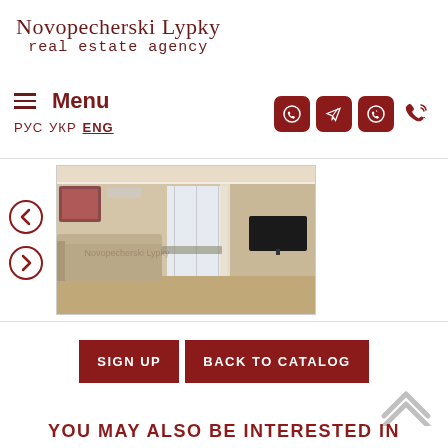Novopecherski Lypky
real estate agency
≡ Menu
РУС  УКР  ENG
[Figure (screenshot): Navigation icons: Viber, Telegram, WhatsApp, Phone call button]
[Figure (photo): Interior photo of a modern apartment living room with beige sofa, TV on wall, dining area and large windows. Watermarked with Novopecherski Lypky branding.]
SIGN UP   BACK TO CATALOG
YOU MAY ALSO BE INTERESTED IN